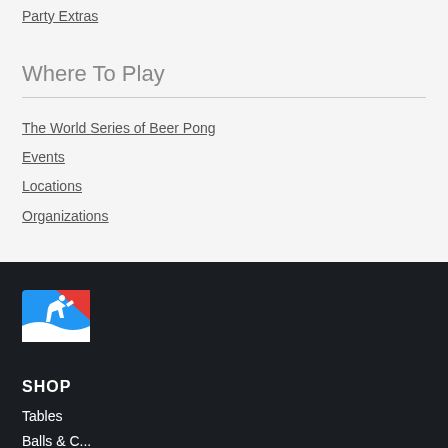Party Extras
Where To Play
The World Series of Beer Pong
Events
Locations
Organizations
[Figure (logo): Beer pong league logo: blue and red silhouette of a person throwing a ball]
SHOP
Tables
Balls & C...